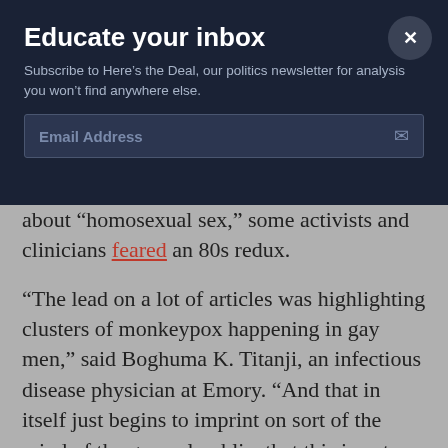Educate your inbox
Subscribe to Here's the Deal, our politics newsletter for analysis you won't find anywhere else.
Email Address
about “homosexual sex,” some activists and clinicians feared an 80s redux.
“The lead on a lot of articles was highlighting clusters of monkeypox happening in gay men,” said Boghuma K. Titanji, an infectious disease physician at Emory. “And that in itself just begins to imprint on sort of the mind of the general public, that this is not something that affects me.”